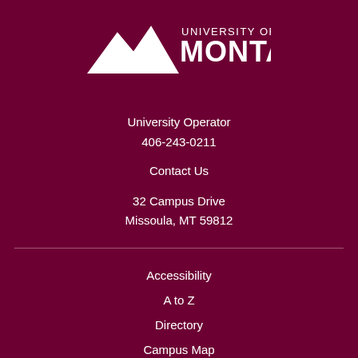[Figure (logo): University of Montana logo — mountain silhouette with 'UNIVERSITY OF MONTANA' text in white on dark maroon background]
University Operator
406-243-0211
Contact Us
32 Campus Drive
Missoula, MT 59812
Accessibility
A to Z
Directory
Campus Map
Campus Safety
Employment